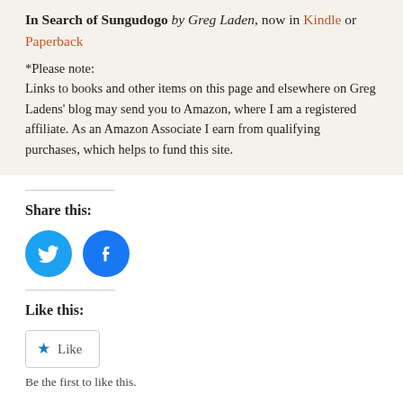In Search of Sungudogo by Greg Laden, now in Kindle or Paperback
*Please note:
Links to books and other items on this page and elsewhere on Greg Ladens' blog may send you to Amazon, where I am a registered affiliate. As an Amazon Associate I earn from qualifying purchases, which helps to fund this site.
Share this:
[Figure (other): Twitter and Facebook share icon buttons (blue circles with bird and f logos)]
Like this:
[Figure (other): Like button widget with star icon]
Be the first to like this.
Related